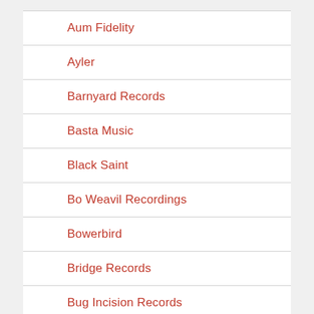Aum Fidelity
Ayler
Barnyard Records
Basta Music
Black Saint
Bo Weavil Recordings
Bowerbird
Bridge Records
Bug Incision Records
CalArts